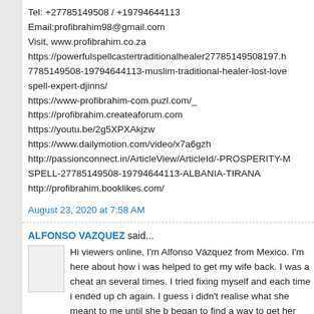Tel: +27785149508 / +19794644113
Email:profibrahim98@gmail.com
Visit, www.profibrahim.co.za
https://powerfulspellcastertraditionalhealer27785149508197.h 7785149508-19794644113-muslim-traditional-healer-lost-love spell-expert-djinns/
https://www-profibrahim-com.puzl.com/_
https://profibrahim.createaforum.com
https://youtu.be/2g5XPXAkjzw
https://www.dailymotion.com/video/x7a6gzh
http://passionconnect.in/ArticleView/ArticleId/-PROSPERITY-M SPELL-27785149508-19794644113-ALBANIA-TIRANA
http://profibrahim.booklikes.com/
August 23, 2020 at 7:58 AM
ALFONSO VAZQUEZ said...
Hi viewers online, I'm Alfonso Vázquez from Mexico. I'm here about how i was helped to get my wife back. I was a cheat an several times. I tried fixing myself and each time i ended up ch again. I guess i didn't realise what she meant to me until she b began to find a way to get her back but nothing seems to work came across an article about Lord Zakuza who helped a lot of